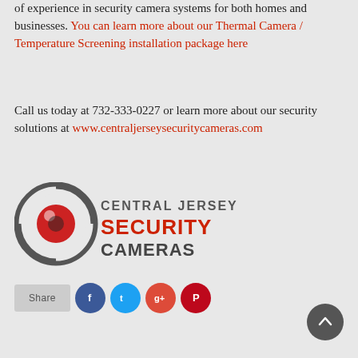of experience in security camera systems for both homes and businesses. You can learn more about our Thermal Camera / Temperature Screening installation package here
Call us today at 732-333-0227 or learn more about our security solutions at www.centraljerseysecuritycameras.com
[Figure (logo): Central Jersey Security Cameras logo with circular camera lens icon in red/grey and company name in grey and red text]
Share